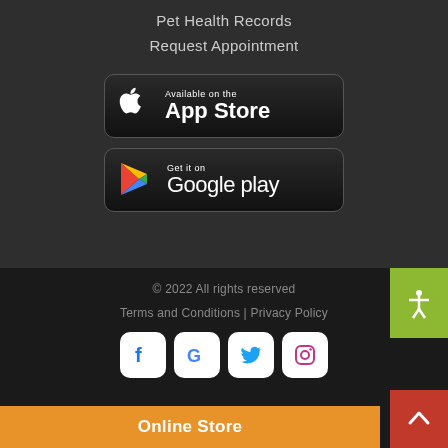Pet Health Records
Request Appointment
[Figure (logo): Apple App Store badge — 'Available on the App Store']
[Figure (logo): Google Play badge — 'Get it on Google play']
© 2022 All rights reserved
Terms and Conditions | Privacy Policy
[Figure (other): Social media icon buttons: Facebook, Google, Twitter, Instagram]
[Figure (other): Accessibility icon button (green background)]
[Figure (other): Back to top arrow button (red background)]
Online Store